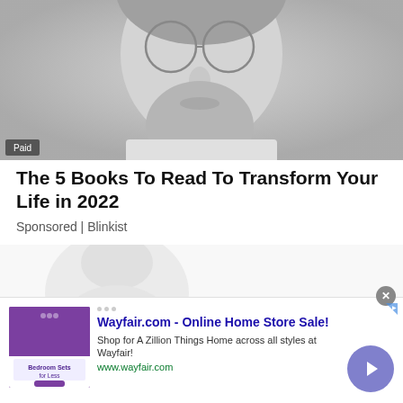[Figure (photo): Grayscale close-up photo of a bearded man wearing round glasses, cropped to show face and upper torso. 'Paid' badge overlaid on bottom-left.]
The 5 Books To Read To Transform Your Life in 2022
Sponsored | Blinkist
[Figure (photo): Faint secondary grayscale image, partially visible, showing a person, faded/watermarked appearance.]
[Figure (infographic): Bottom banner advertisement for Wayfair.com. Headline: 'Wayfair.com - Online Home Store Sale!'. Description: 'Shop for A Zillion Things Home across all styles at Wayfair!'. URL: www.wayfair.com. Includes a purple/violet ad thumbnail image showing 'Bedroom Sets for Less' text and a circular call-to-action arrow button.]